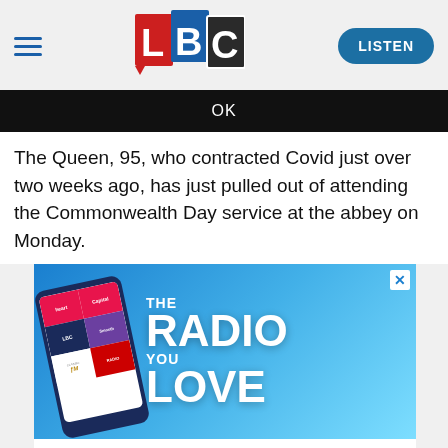LBC — LISTEN
OK
The Queen, 95, who contracted Covid just over two weeks ago, has just pulled out of attending the Commonwealth Day service at the abbey on Monday.
[Figure (advertisement): LBC Global Player advertisement showing a smartphone with radio app icons and text 'THE RADIO YOU LOVE — WHEREVER YOU GO. ALL FOR FREE.']